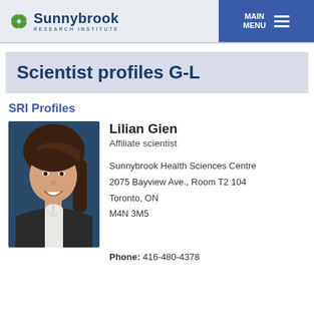[Figure (logo): Sunnybrook Research Institute logo with green leaf icon and institute name]
Scientist profiles G-L
SRI Profiles
[Figure (photo): Portrait photo of Lilian Gien, a woman with shoulder-length brown hair, smiling, wearing a dark blazer over a white top, against a dark blue background]
Lilian Gien
Affiliate scientist

Sunnybrook Health Sciences Centre
2075 Bayview Ave., Room T2 104
Toronto, ON
M4N 3M5
Phone: 416-480-4378